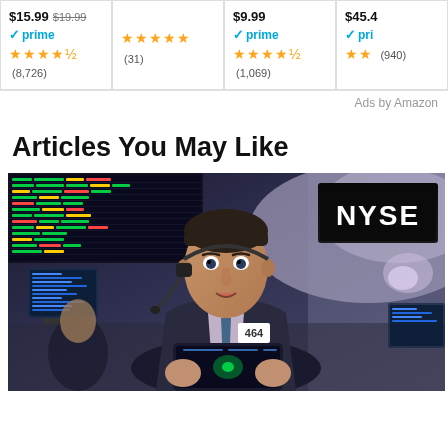[Figure (other): Amazon product ad cards showing 4 items with prices, Prime badges, star ratings and review counts. Card 1: $15.99 (was $19.99), Prime, 4.5 stars, (8,726) reviews. Card 2: star rating shown, (31) reviews. Card 3: $9.99, Prime, 4.5 stars, (1,069) reviews. Card 4: $45.4x, Prime, 2+ stars, (940) reviews.]
Ads by Amazon
Articles You May Like
[Figure (photo): Photo of a male NYSE trader/broker on the trading floor wearing a headset and badge number 464, holding a tablet device. Behind him are electronic trading boards and the NYSE sign. The scene depicts a busy stock exchange environment.]